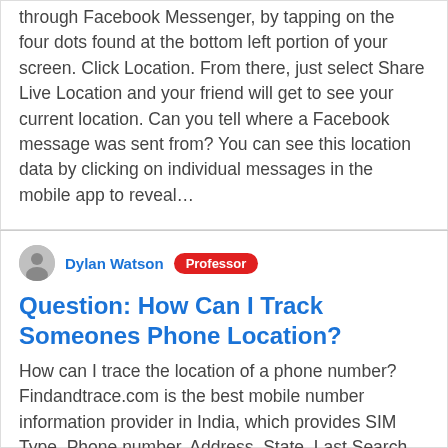through Facebook Messenger, by tapping on the four dots found at the bottom left portion of your screen. Click Location. From there, just select Share Live Location and your friend will get to see your current location. Can you tell where a Facebook message was sent from? You can see this location data by clicking on individual messages in the mobile app to reveal…
Dylan Watson  Professor
Question: How Can I Track Someones Phone Location?
How can I trace the location of a phone number? Findandtrace.com is the best mobile number information provider in India, which provides SIM Type, Phone number, Address, State, Last Search history, Caller